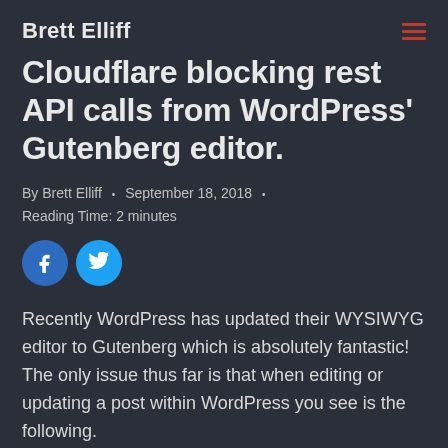Brett Elliff
Cloudflare blocking rest API calls from WordPress' Gutenberg editor.
By Brett Elliff • September 18, 2018 • Reading Time: 2 minutes
[Figure (infographic): Social sharing buttons: Facebook (blue circle with f icon) and Twitter (light blue circle with bird icon)]
Recently WordPress has updated their WYSIWYG editor to Gutenberg which is absolutely fantastic!  The only issue thus far is that when editing or updating a post within WordPress you see is the following.